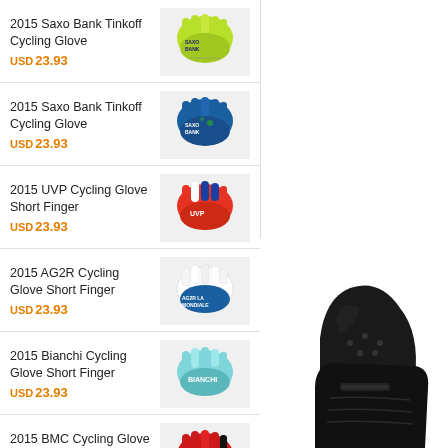2015 Saxo Bank Tinkoff Cycling Glove
USD 23.93
2015 Saxo Bank Tinkoff Cycling Glove
USD 23.93
2015 UVP Cycling Glove Short Finger
USD 23.93
2015 AG2R Cycling Glove Short Finger
USD 23.93
2015 Bianchi Cycling Glove Short Finger
USD 23.93
2015 BMC Cycling Glove Short Finger
USD 23.93
[Figure (photo): Black cycling glove product photo, partial view at bottom right]